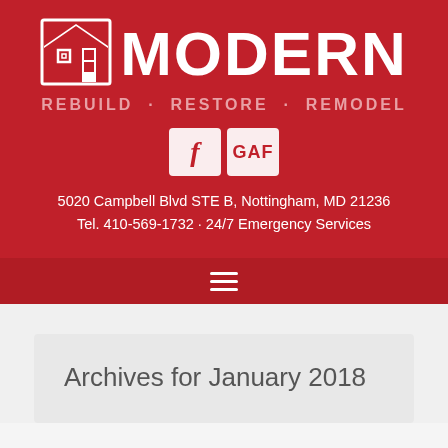[Figure (logo): Modern Rebuild Restore Remodel company logo with house icon on red background]
5020 Campbell Blvd STE B, Nottingham, MD 21236
Tel. 410-569-1732 · 24/7 Emergency Services
Archives for January 2018